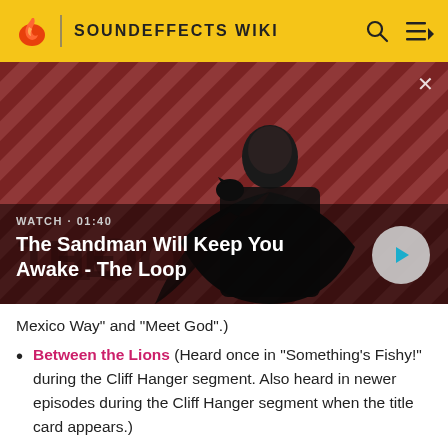SOUNDEFFECTS WIKI
[Figure (screenshot): Video banner showing The Sandman character with dark background and diagonal stripes. Text: WATCH · 01:40, The Sandman Will Keep You Awake - The Loop. Play button visible.]
Mexico Way" and "Meet God".)
Between the Lions (Heard once in "Something's Fishy!" during the Cliff Hanger segment. Also heard in newer episodes during the Cliff Hanger segment when the title card appears.)
The Big Bang Theory (partial, cut off)